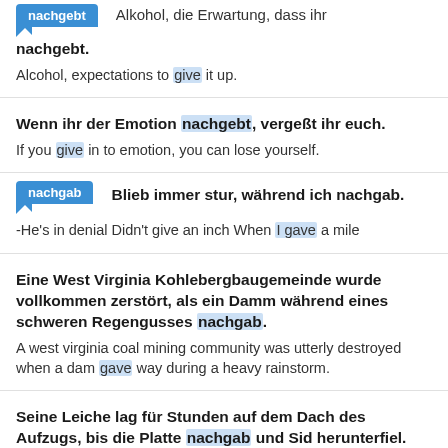nachgebt — Alkohol, die Erwartung, dass ihr nachgebt. | Alcohol, expectations to give it up.
Wenn ihr der Emotion nachgebt, vergeßt ihr euch. | If you give in to emotion, you can lose yourself.
nachgab — Blieb immer stur, während ich nachgab. | -He's in denial Didn't give an inch When I gave a mile
Eine West Virginia Kohlebergbaugemeinde wurde vollkommen zerstört, als ein Damm während eines schweren Regengusses nachgab. | A west virginia coal mining community was utterly destroyed when a dam gave way during a heavy rainstorm.
Seine Leiche lag für Stunden auf dem Dach des Aufzugs, bis die Platte nachgab und Sid herunterfiel.